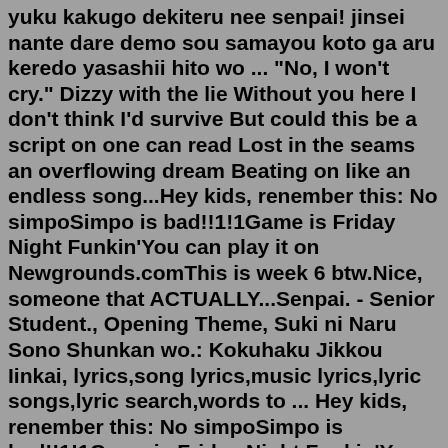yuku kakugo dekiteru nee senpai! jinsei nante dare demo sou samayou koto ga aru keredo yasashii hito wo ... "No, I won't cry." Dizzy with the lie Without you here I don't think I'd survive But could this be a script on one can read Lost in the seams an overflowing dream Beating on like an endless song...Hey kids, renember this: No simpoSimpo is bad!!1!1Game is Friday Night Funkin'You can play it on Newgrounds.comThis is week 6 btw.Nice, someone that ACTUALLY...Senpai. - Senior Student., Opening Theme, Suki ni Naru Sono Shunkan wo.: Kokuhaku Jikkou Iinkai, lyrics,song lyrics,music lyrics,lyric songs,lyric search,words to ... Hey kids, renember this: No simpoSimpo is bad!!1!1Game is Friday Night Funkin'You can play it on Newgrounds.comThis is week 6 btw.Nice, someone that ACTUALLY... LYRICS. PLAY FULL SONG. Connect with Apple Music. Sign-in or Try it free for 3 months. Music Video. Gambare Gambare Senpai~ Remix (1 Hour Loop) Upcoming Concerts. Though I like BraveSail more. Senpai is more dramatic, and maybe better